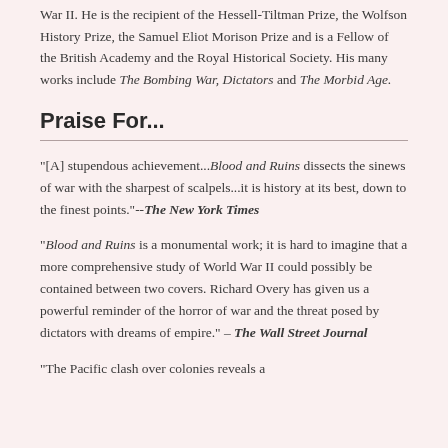War II. He is the recipient of the Hessell-Tiltman Prize, the Wolfson History Prize, the Samuel Eliot Morison Prize and is a Fellow of the British Academy and the Royal Historical Society. His many works include The Bombing War, Dictators and The Morbid Age.
Praise For...
"[A] stupendous achievement...Blood and Ruins dissects the sinews of war with the sharpest of scalpels...it is history at its best, down to the finest points."--The New York Times
"Blood and Ruins is a monumental work; it is hard to imagine that a more comprehensive study of World War II could possibly be contained between two covers. Richard Overy has given us a powerful reminder of the horror of war and the threat posed by dictators with dreams of empire." – The Wall Street Journal
"The Pacific clash over colonies reveals a